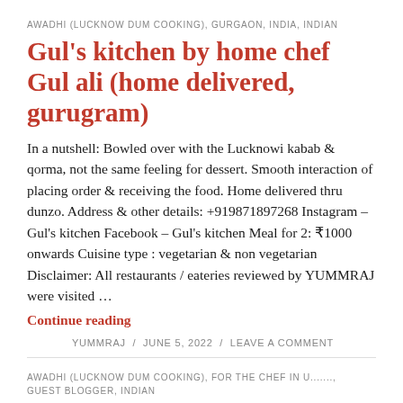AWADHI (LUCKNOW DUM COOKING), GURGAON, INDIA, INDIAN
Gul's kitchen by home chef Gul ali (home delivered, gurugram)
In a nutshell: Bowled over with the Lucknowi kabab & qorma, not the same feeling for dessert. Smooth interaction of placing order & receiving the food. Home delivered thru dunzo. Address & other details: +919871897268 Instagram – Gul's kitchen Facebook – Gul's kitchen Meal for 2: ₹1000 onwards Cuisine type : vegetarian & non vegetarian Disclaimer: All restaurants / eateries reviewed by YUMMRAJ were visited …
Continue reading
YUMMRAJ / JUNE 5, 2022 / LEAVE A COMMENT
AWADHI (LUCKNOW DUM COOKING), FOR THE CHEF IN U......., GUEST BLOGGER, INDIAN